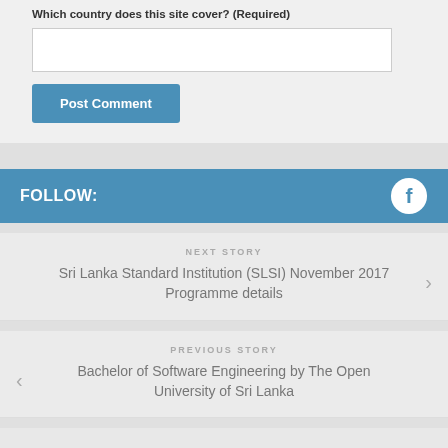Which country does this site cover? (Required)
Post Comment
FOLLOW:
NEXT STORY
Sri Lanka Standard Institution (SLSI) November 2017 Programme details
PREVIOUS STORY
Bachelor of Software Engineering by The Open University of Sri Lanka